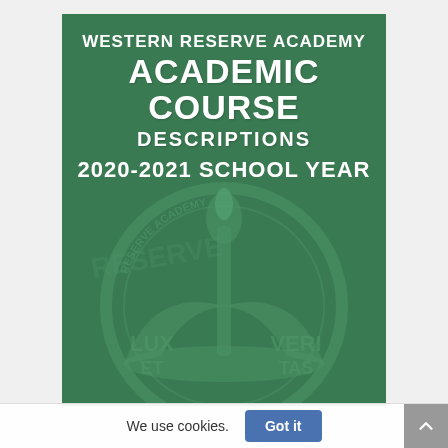[Figure (illustration): Cover page of Western Reserve Academy Academic Course Descriptions for 2020-2021 School Year. Green background with white bold text overlaid on the school seal (torch with open book showing 'LUX ET VERITAS' and 'RESERVE ACADEMY' circular text). The seal is a watermark in a darker green tone.]
We use cookies.